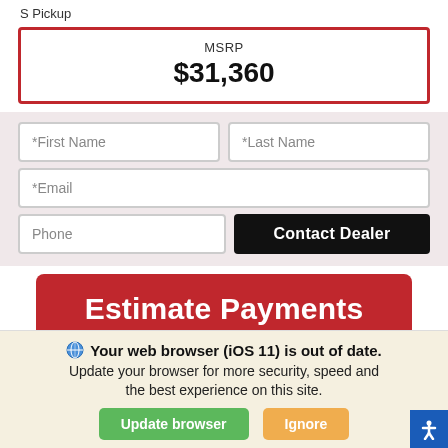S Pickup
MSRP
$31,360
*First Name
*Last Name
*Email
Phone
Contact Dealer
Estimate Payments
Explore Buy@Home
Your web browser (iOS 11) is out of date. Update your browser for more security, speed and the best experience on this site.
Update browser
Ignore